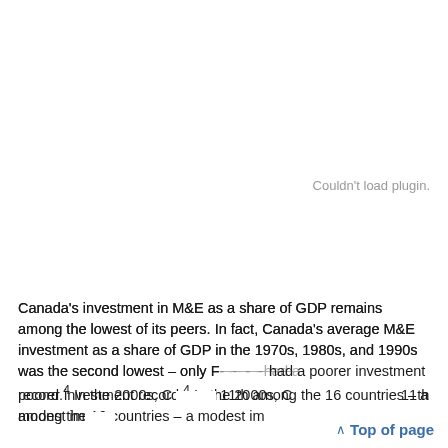[Figure (other): Plugin failed to load – large blank area with 'Couldn't load plugin.' error message in grey text at upper right]
Canada's investment in M&E as a share of GDP remains among the lowest of its peers. In fact, Canada's average M&E investment as a share of GDP in the 1970s, 1980s, and 1990s was the second lowest – only F~~~~~ had a poorer investment record.4 In the 2000s, C~~~~~ ranked 11th among the 16 countries – a modest im~~~~~
^ Top of page